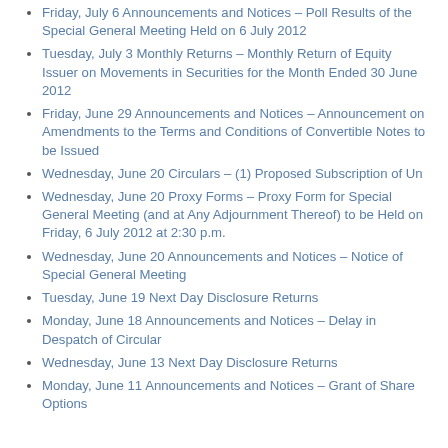Friday, July 6 Announcements and Notices – Poll Results of the Special General Meeting Held on 6 July 2012
Tuesday, July 3 Monthly Returns – Monthly Return of Equity Issuer on Movements in Securities for the Month Ended 30 June 2012
Friday, June 29 Announcements and Notices – Announcement on Amendments to the Terms and Conditions of Convertible Notes to be Issued
Wednesday, June 20 Circulars – (1) Proposed Subscription of Un
Wednesday, June 20 Proxy Forms – Proxy Form for Special General Meeting (and at Any Adjournment Thereof) to be Held on Friday, 6 July 2012 at 2:30 p.m.
Wednesday, June 20 Announcements and Notices – Notice of Special General Meeting
Tuesday, June 19 Next Day Disclosure Returns
Monday, June 18 Announcements and Notices – Delay in Despatch of Circular
Wednesday, June 13 Next Day Disclosure Returns
Monday, June 11 Announcements and Notices – Grant of Share Options